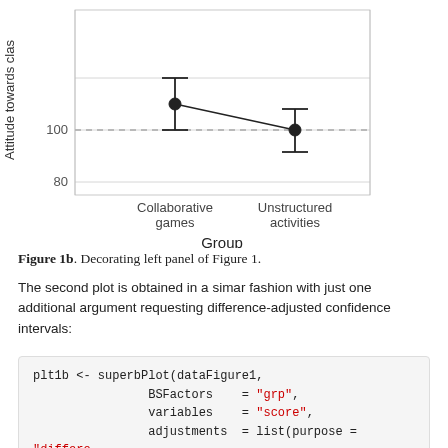[Figure (continuous-plot): Point-range plot showing two groups (Collaborative games, Unstructured activities) on x-axis and 'Attitude towards class' on y-axis (range ~80 to ~120). Collaborative games point is near 110 with error bars, Unstructured activities point is near 100 with error bars. A horizontal dashed line at y=100. A solid line connects the two points.]
Figure 1b. Decorating left panel of Figure 1.
The second plot is obtained in a simar fashion with just one additional argument requesting difference-adjusted confidence intervals:
plt1b <- superbPlot(dataFigure1,
                BSFactors    = "grp",
                variables    = "score",
                adjustments  = list(purpose = "difference"), #new!